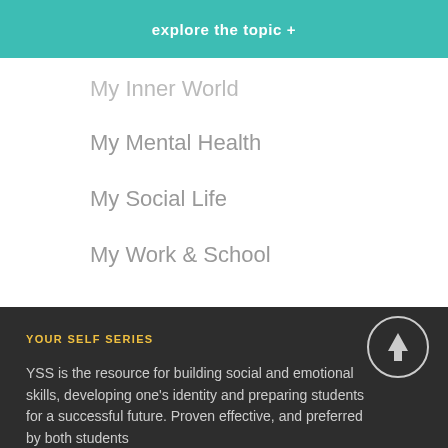explore the topic +
My Inner World
My Mental Health
My Social Life
My Work & School
YOUR SELF SERIES
YSS is the resource for building social and emotional skills, developing one's identity and preparing students for a successful future. Proven effective, and preferred by both students